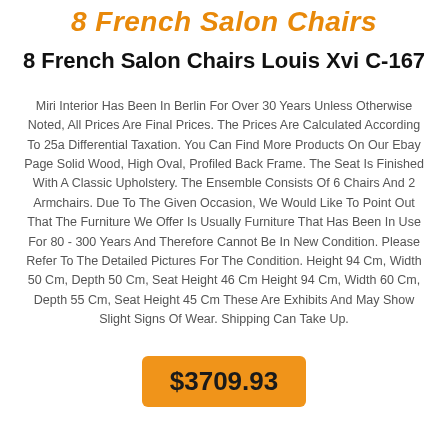8 French Salon Chairs
8 French Salon Chairs Louis Xvi C-167
Miri Interior Has Been In Berlin For Over 30 Years Unless Otherwise Noted, All Prices Are Final Prices. The Prices Are Calculated According To 25a Differential Taxation. You Can Find More Products On Our Ebay Page Solid Wood, High Oval, Profiled Back Frame. The Seat Is Finished With A Classic Upholstery. The Ensemble Consists Of 6 Chairs And 2 Armchairs. Due To The Given Occasion, We Would Like To Point Out That The Furniture We Offer Is Usually Furniture That Has Been In Use For 80 - 300 Years And Therefore Cannot Be In New Condition. Please Refer To The Detailed Pictures For The Condition. Height 94 Cm, Width 50 Cm, Depth 50 Cm, Seat Height 46 Cm Height 94 Cm, Width 60 Cm, Depth 55 Cm, Seat Height 45 Cm These Are Exhibits And May Show Slight Signs Of Wear. Shipping Can Take Up.
$3709.93